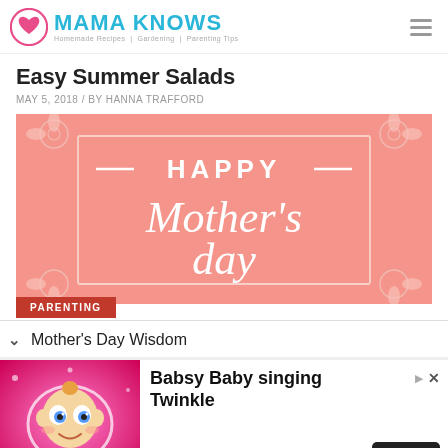MAMA KNOWS — Homemade Recipes | Gardening | Parenting Tips
Easy Summer Salads
MAY 5, 2018 / BY HANNA TRAFFORD
[Figure (illustration): Happy Mother's Day greeting card image with pink background, floral/leaf decorative corners, a rectangular border, and white script/display text reading 'HAPPY Mother's day']
PARENTING
Mother's Day Wisdom
[Figure (photo): Advertisement banner: animated baby character (cartoon, large eyes, smiling) on a pink sparkly background with a glowing heart shape. Text: Babsy Baby singing Twinkle. Brand: Kaufcom GmbH. Open button.]